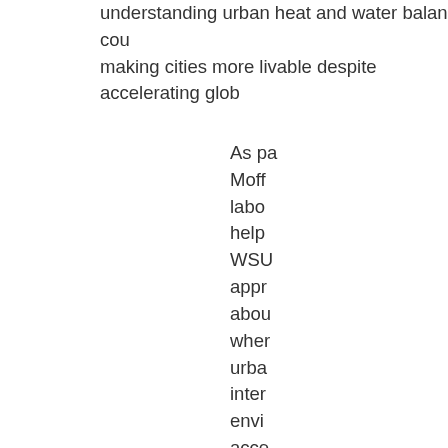understanding urban heat and water balances could contribute to making cities more livable despite accelerating glob...
As pa... Moff... labo... help... WSU... appr... abou... wher... urba... inter... envi... acce... inclu... mob... the w... learn...